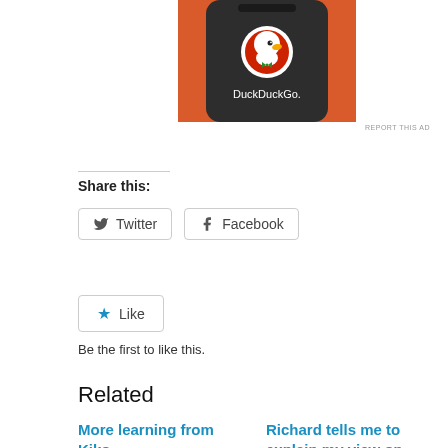[Figure (photo): DuckDuckGo app logo displayed on a dark smartphone screen against an orange background. The DuckDuckGo duck logo in a white circle and the text 'DuckDuckGo.' in white are visible.]
REPORT THIS AD
Share this:
Twitter
Facebook
Like
Be the first to like this.
Related
More learning from Kiko
Richard tells me to explain my view on